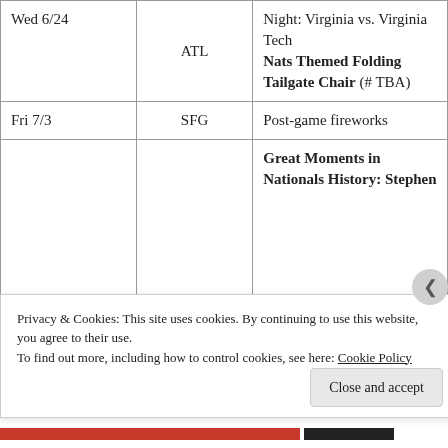| Date | Opponent | Promotion |
| --- | --- | --- |
| Wed 6/24 | ATL | Night: Virginia vs. Virginia Tech
Nats Themed Folding Tailgate Chair (# TBA) |
| Fri 7/3 | SFG | Post-game fireworks |
|  |  | Great Moments in Nationals History: Stephen |
Privacy & Cookies: This site uses cookies. By continuing to use this website, you agree to their use.
To find out more, including how to control cookies, see here: Cookie Policy